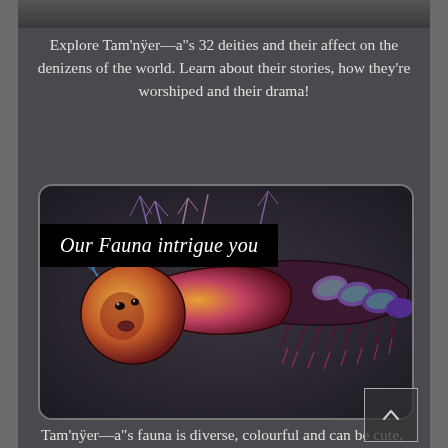Explore Tam'nÿer—a"s 32 deities and their affect on the denizens of the world. Learn about their stories, how they're worshiped and their drama!
[Figure (illustration): A fantasy creature illustration resembling a colorful centipede-like creature with a round cute face, feathery protrusions, and dark segmented body with iridescent scales. Title overlay reads 'Our Fauna intrigue you'.]
Tam'nÿer—a"s fauna is diverse, colourful and can be cute, just as it can be deadly. Most importantly though, fauna provide food and hold cultural significance.